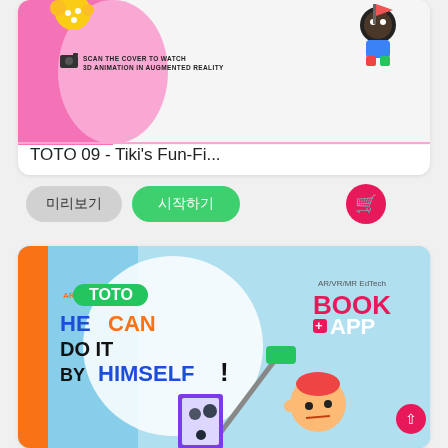[Figure (screenshot): Top portion of a book card for TOTO 09 showing a colorful children's book cover with scan AR instruction text, cartoon characters on pink and white background]
TOTO 09 - Tiki's Fun-Fi...
미리보기
시작하기
[Figure (screenshot): Book cover for AR TOTO 'He Can Do It By Himself!' children's book showing a red-haired boy painting with a mop, with BOOK+APP logo, family photo, orange spine, blue and white background]